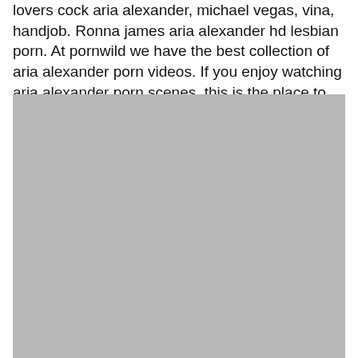lovers cock aria alexander, michael vegas, vina, handjob. Ronna james aria alexander hd lesbian porn. At pornwild we have the best collection of aria alexander porn videos. If you enjoy watching aria alexander porn scenes, this is the place to be! This pornstar has 63 videos and 11252 photos. No video available hd 63% 9:57.
[Figure (photo): Large gray placeholder image block]